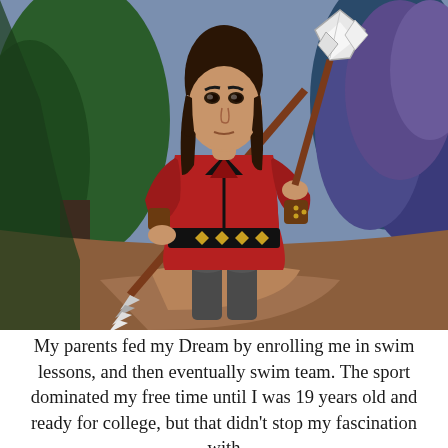[Figure (illustration): Digital illustration of a fantasy character: a young woman with dark hair wearing a red tunic with black diamond-patterned belt, holding a long spear/lance with a white diamond-shaped tip. Background shows a forest path with green trees and purple foliage.]
My parents fed my Dream by enrolling me in swim lessons, and then eventually swim team.  The sport dominated my free time until I was 19 years old and ready for college, but that didn't stop my fascination with